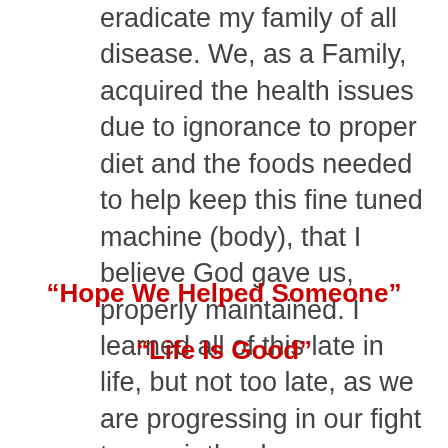eradicate my family of all disease.  We, as a Family,  acquired the health issues due to ignorance to proper diet and the foods needed to help keep this fine tuned machine (body), that I believe God gave us, properly maintained.  I learned all of this late in life, but not too late, as we are progressing in our fight to repair the damage we did through our ignorance.
“Hope We Helped Someone”
“Life Is Good”